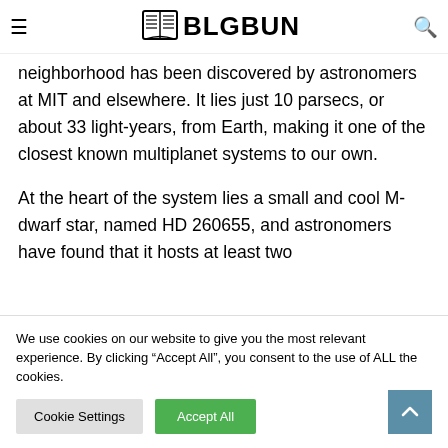BLGBUN
neighborhood has been discovered by astronomers at MIT and elsewhere. It lies just 10 parsecs, or about 33 light-years, from Earth, making it one of the closest known multiplanet systems to our own.
At the heart of the system lies a small and cool M-dwarf star, named HD 260655, and astronomers have found that it hosts at least two
We use cookies on our website to give you the most relevant experience. By clicking “Accept All”, you consent to the use of ALL the cookies.